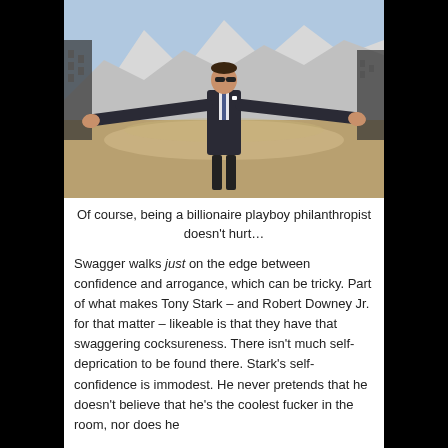[Figure (photo): A man in a dark suit with arms spread wide, standing in a desert landscape with snow-capped mountains in the background. He wears sunglasses and a blue tie.]
Of course, being a billionaire playboy philanthropist doesn't hurt…
Swagger walks just on the edge between confidence and arrogance, which can be tricky. Part of what makes Tony Stark – and Robert Downey Jr. for that matter – likeable is that they have that swaggering cocksureness. There isn't much self-deprication to be found there. Stark's self-confidence is immodest. He never pretends that he doesn't believe that he's the coolest fucker in the room, nor does he